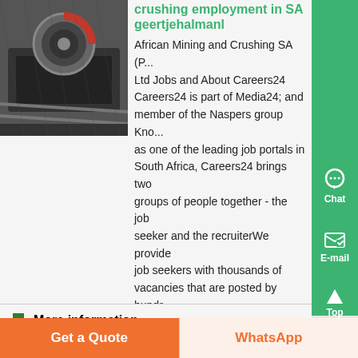[Figure (photo): Mining and crushing machinery photo showing industrial equipment with conveyor/crusher in dark setting]
crushing employment in SA geertjehalmanl
African Mining and Crushing SA (P... Ltd Jobs and About Careers24 Careers24 is part of Media24; and member of the Naspers group Kno... as one of the leading job portals in South Africa, Careers24 brings two groups of people together - the job seeker and the recruiterWe provide job seekers with thousands of vacancies that are posted by hundr... of registered recruiters and employers...
More information
Get a Quote
WhatsApp